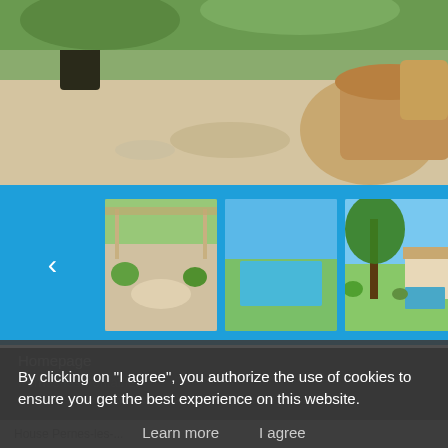[Figure (photo): Main large photo showing outdoor terrace with wicker furniture, stone pavers, and lush greenery]
[Figure (photo): Thumbnail 1: Covered patio/pergola area with outdoor seating and garden view]
[Figure (photo): Thumbnail 2: Swimming pool with rectangular design, tall trees in background, blue sky]
[Figure (photo): Thumbnail 3: Garden area with large tree, swimming pool visible, villa/house in background]
BACK
Homepage
By clicking on "I agree", you authorize the use of cookies to ensure you get the best experience on this website.
Learn more
I agree
House Pernes-les-Fontaines...